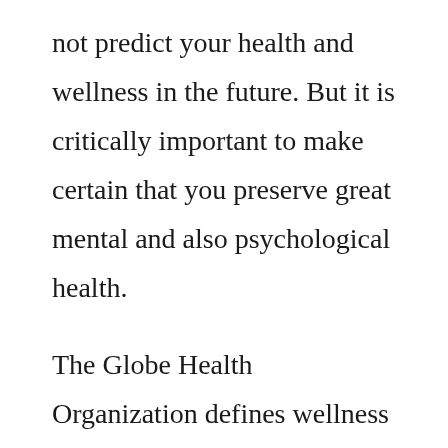not predict your health and wellness in the future. But it is critically important to make certain that you preserve great mental and also psychological health.
The Globe Health Organization defines wellness as a state of total physical, mental, and also social well-being. It is an integral aspect of life that can be specified as an individual's general happiness. It encompasses various elements of an individual's life. It is a person's capability to